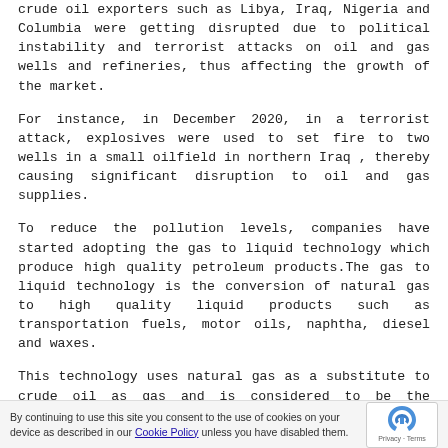crude oil exporters such as Libya, Iraq, Nigeria and Columbia were getting disrupted due to political instability and terrorist attacks on oil and gas wells and refineries, thus affecting the growth of the market.
For instance, in December 2020, in a terrorist attack, explosives were used to set fire to two wells in a small oilfield in northern Iraq , thereby causing significant disruption to oil and gas supplies.
To reduce the pollution levels, companies have started adopting the gas to liquid technology which produce high quality petroleum products.The gas to liquid technology is the conversion of natural gas to high quality liquid products such as transportation fuels, motor oils, naphtha, diesel and waxes.
This technology uses natural gas as a substitute to crude oil as gas and is considered to be the cleanest burning fossil fuel and is abundant, versatile and easily affordable.The by- products obtained by the GTL technology are colorless, odorless
By continuing to use this site you consent to the use of cookies on your device as described in our Cookie Policy unless you have disabled them.